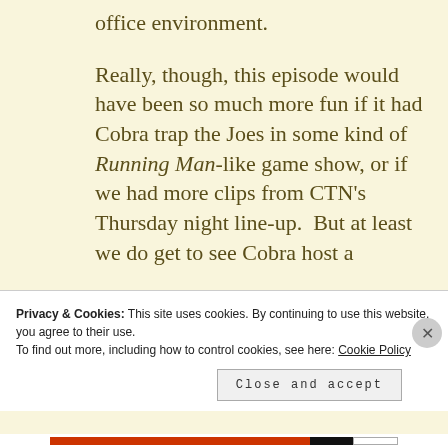office environment.
Really, though, this episode would have been so much more fun if it had Cobra trap the Joes in some kind of Running Man-like game show, or if we had more clips from CTN's Thursday night line-up.  But at least we do get to see Cobra host a
Privacy & Cookies: This site uses cookies. By continuing to use this website, you agree to their use.
To find out more, including how to control cookies, see here: Cookie Policy
Close and accept